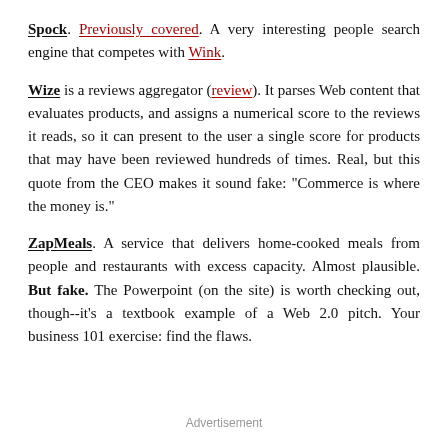Spock. Previously covered. A very interesting people search engine that competes with Wink.
Wize is a reviews aggregator (review). It parses Web content that evaluates products, and assigns a numerical score to the reviews it reads, so it can present to the user a single score for products that may have been reviewed hundreds of times. Real, but this quote from the CEO makes it sound fake: "Commerce is where the money is."
ZapMeals. A service that delivers home-cooked meals from people and restaurants with excess capacity. Almost plausible. But fake. The Powerpoint (on the site) is worth checking out, though--it's a textbook example of a Web 2.0 pitch. Your business 101 exercise: find the flaws.
Advertisement